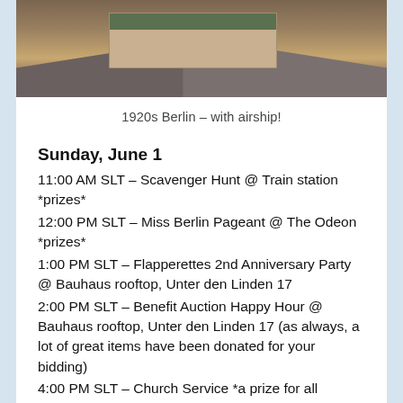[Figure (photo): A 1920s Berlin street scene rendered in a 3D virtual world, showing a street intersection with buildings and roads visible from an elevated angle.]
1920s Berlin – with airship!
Sunday, June 1
11:00 AM SLT – Scavenger Hunt @ Train station *prizes*
12:00 PM SLT – Miss Berlin Pageant @ The Odeon *prizes*
1:00 PM SLT – Flapperettes 2nd Anniversary Party @ Bauhaus rooftop, Unter den Linden 17
2:00 PM SLT – Benefit Auction Happy Hour @ Bauhaus rooftop, Unter den Linden 17 (as always, a lot of great items have been donated for your bidding)
4:00 PM SLT – Church Service *a prize for all